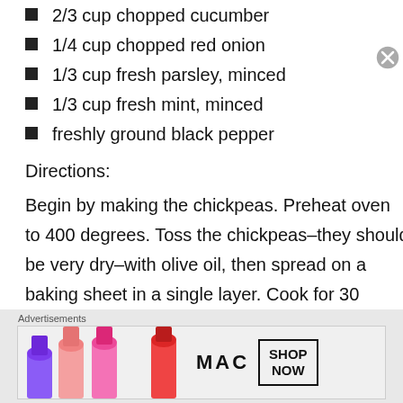2/3 cup chopped cucumber
1/4 cup chopped red onion
1/3 cup fresh parsley, minced
1/3 cup fresh mint, minced
freshly ground black pepper
Directions:
Begin by making the chickpeas. Preheat oven to 400 degrees. Toss the chickpeas–they should be very dry–with olive oil, then spread on a baking sheet in a single layer. Cook for 30 minutes, tossing halfway through. Remove from oven and season with cayenne, cumin, and paprika.
[Figure (advertisement): MAC cosmetics advertisement showing lipsticks with 'SHOP NOW' button]